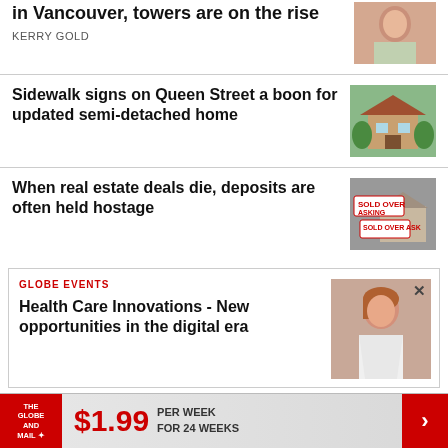in Vancouver, towers are on the rise
KERRY GOLD
Sidewalk signs on Queen Street a boon for updated semi-detached home
When real estate deals die, deposits are often held hostage
[Figure (photo): Photo of a woman]
[Figure (photo): Photo of a semi-detached house on Queen Street]
[Figure (photo): Photo of Sold Over Asking real estate signs]
GLOBE EVENTS
Health Care Innovations - New opportunities in the digital era
[Figure (photo): Photo of a woman for Globe Events health care event]
THE GLOBE AND MAIL $1.99 PER WEEK FOR 24 WEEKS